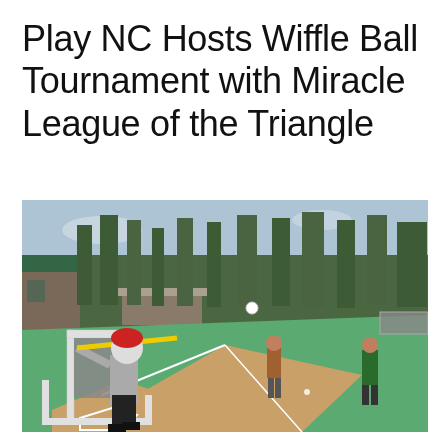Play NC Hosts Wiffle Ball Tournament with Miracle League of the Triangle
[Figure (photo): Outdoor wiffle ball game being played on a colorful recreational baseball diamond with green and tan/brown surfaces. A batter in a grey hoodie and red beanie hat swings a yellow bat at home plate next to a white PVC pipe frame backstop. A pitcher and fielder are visible in the background. Tall pine trees and a brick building with green metal roof are visible behind the outfield fence.]